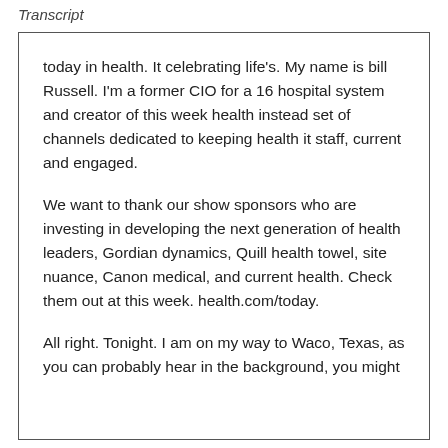Transcript
today in health. It celebrating life's. My name is bill Russell. I'm a former CIO for a 16 hospital system and creator of this week health instead set of channels dedicated to keeping health it staff, current and engaged.
We want to thank our show sponsors who are investing in developing the next generation of health leaders, Gordian dynamics, Quill health towel, site nuance, Canon medical, and current health. Check them out at this week. health.com/today.
All right. Tonight. I am on my way to Waco, Texas, as you can probably hear in the background, you might